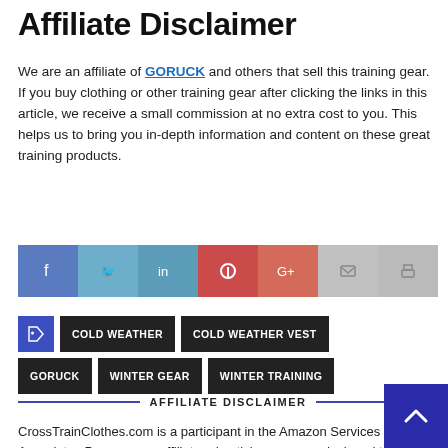Affiliate Disclaimer
We are an affiliate of GORUCK and others that sell this training gear. If you buy clothing or other training gear after clicking the links in this article, we receive a small commission at no extra cost to you. This helps us to bring you in-depth information and content on these great training products.
[Figure (infographic): Social share buttons: Facebook, Twitter, LinkedIn, Pinterest, Google+, Email, Print]
COLD WEATHER
COLD WEATHER VEST
GORUCK
WINTER GEAR
WINTER TRAINING
AFFILIATE DISCLAIMER
CrossTrainClothes.com is a participant in the Amazon Services LLC Associates Program, an affiliate advertising program designed to provide a means for us to earn fees by linking to Amazon.com and affiliated sites.